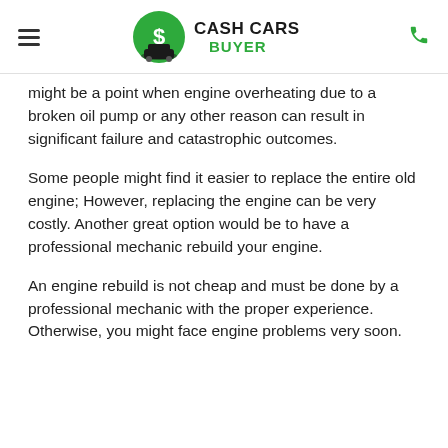Cash Cars Buyer
might be a point when engine overheating due to a broken oil pump or any other reason can result in significant failure and catastrophic outcomes.
Some people might find it easier to replace the entire old engine; However, replacing the engine can be very costly. Another great option would be to have a professional mechanic rebuild your engine.
An engine rebuild is not cheap and must be done by a professional mechanic with the proper experience. Otherwise, you might face engine problems very soon.